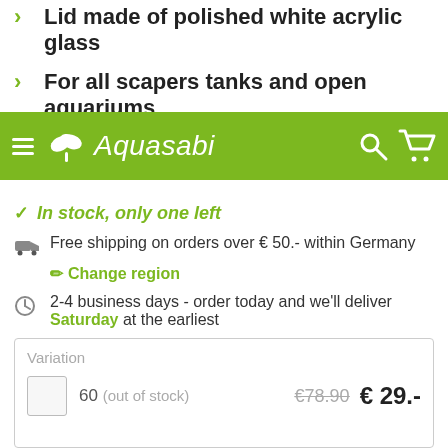Lid made of polished white acrylic glass
For all scapers tanks and open aquariums
Direct mounting on pelvic brim
Aquasabi
In stock, only one left
Free shipping on orders over € 50.- within Germany
Change region
2-4 business days - order today and we'll deliver Saturday at the earliest
|  | Variation | Price |
| --- | --- | --- |
| 60 (out of stock) | €78.90 | € 29.- |